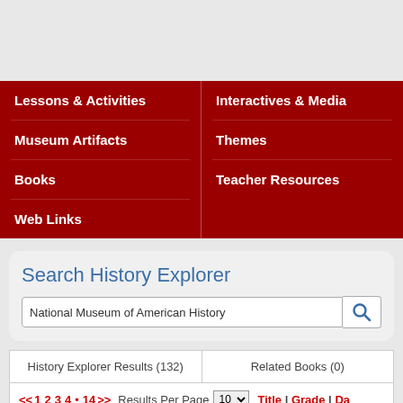Lessons & Activities
Interactives & Media
Museum Artifacts
Themes
Books
Teacher Resources
Web Links
Search History Explorer
National Museum of American History
| History Explorer Results (132) | Related Books (0) |
| --- | --- |
<< 1 2 3 4 • 14 >> Results Per Page 10 Title | Grade | Date